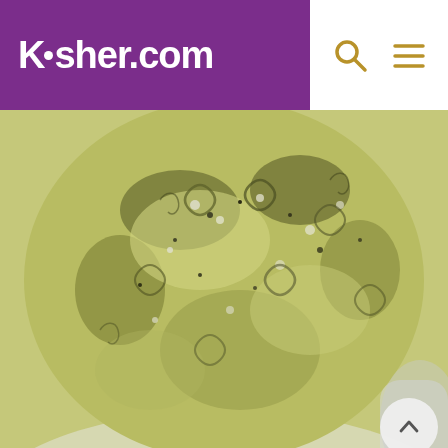Kosher.com
[Figure (photo): Close-up photo of pesto pasta rotini with herbs and cheese in a bowl]
15 Low-Carb Bowties and Alfredo: Saute sliced mushrooms and diced onions in olive oil. Add cup dry white wine. Let it boil until liquid cuts in half. Remove from heat. Add 2 cups of cold 2% milk and 3-4 tablespoons flour. Mix mixture very well until smooth. Put back on heat and bring to a boil while stirring. Add shredded mozzarella